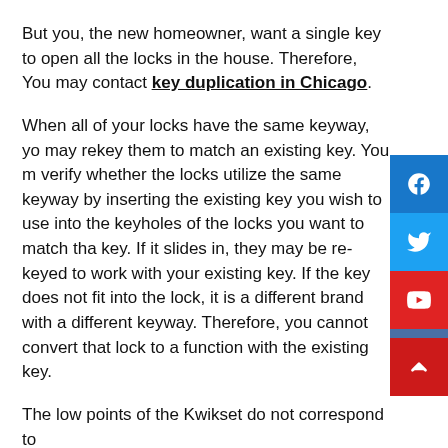But you, the new homeowner, want a single key to open all the locks in the house. Therefore, You may contact key duplication in Chicago.
When all of your locks have the same keyway, you may rekey them to match an existing key. You must verify whether the locks utilize the same keyway by inserting the existing key you wish to use into the keyholes of the locks you want to match that key. If it slides in, they may be re-keyed to work with your existing key. If the key does not fit into the lock, it is a different brand with a different keyway. Therefore, you cannot convert that lock to a function with the existing key.
The low points of the Kwikset do not correspond to